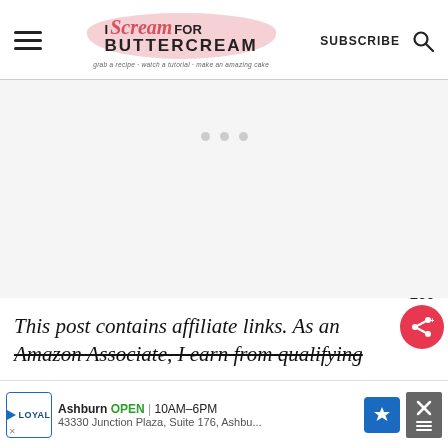I Scream for Buttercream — grab a recipe · watch a tutorial · make an amazing cake | SUBSCRIBE
[Figure (other): Empty white/light gray advertisement placeholder area with three small gray dots centered]
This post contains affiliate links. As an Amazon Associate, I earn from qualifying p...
[Figure (other): Red heart favorite button with count 160, and red share button floating on right side]
[Figure (other): Bottom ad banner: Loyal logo, Ashburn OPEN | 10AM-6PM, 43330 Junction Plaza, Suite 176, Ashbu..., navigation icon, close button]